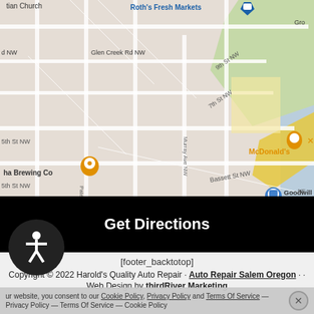[Figure (map): Google Maps screenshot showing West Salem, Oregon area with landmarks including Roth's Fresh Markets, West Salem Ace Hardware, West Coast Strength, McDonald's, ha Brewing Co, Gilbert House Children's Museum, Goodwill Industries of the Columbia Willamette, and various street labels (Glen Creek Rd NW, 9th St NW, 7th St NW, Bassett St NW, Murray Ave NW, Paterson St NW, 5th St NW)]
Get Directions
[footer_backtotop]
Copyright © 2022 Harold's Quality Auto Repair · Auto Repair Salem Oregon · ·
Web Design by thirdRiver Marketing
ur website, you consent to our Cookie Policy, Privacy Policy and Terms Of Service — Privacy Policy — Terms Of Service — Cookie Policy